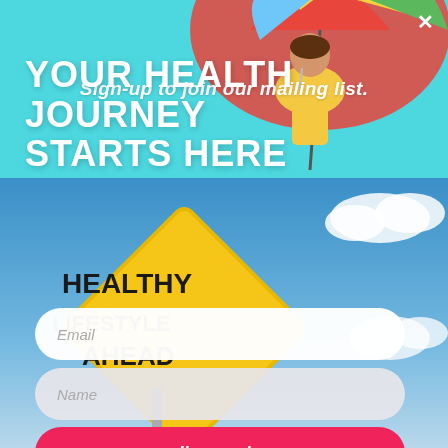[Figure (photo): Top cyan/teal banner with woman sipping drink holding colorful umbrella on the right side]
Sign-up to join our mailing list.
[Figure (photo): Blue sky background with yellow diamond road sign reading HEALTHY LIFESTYLE AHEAD and white clouds]
YOUR HEALTH JOURNEY STARTS HERE
Email
Name
I'm ready